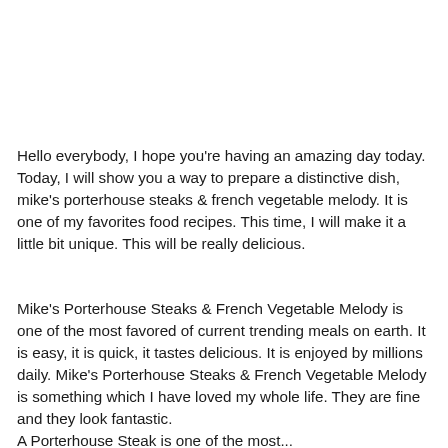Hello everybody, I hope you're having an amazing day today. Today, I will show you a way to prepare a distinctive dish, mike's porterhouse steaks & french vegetable melody. It is one of my favorites food recipes. This time, I will make it a little bit unique. This will be really delicious.
Mike's Porterhouse Steaks & French Vegetable Melody is one of the most favored of current trending meals on earth. It is easy, it is quick, it tastes delicious. It is enjoyed by millions daily. Mike's Porterhouse Steaks & French Vegetable Melody is something which I have loved my whole life. They are fine and they look fantastic.
A Porterhouse Steak is one of the most...